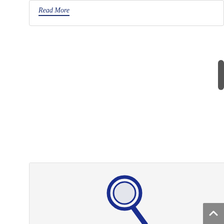Read More
[Figure (logo): Magnifying glass icon in dark blue, with analysis text below]
Analysis
[Figure (logo): Aricent company logo in orange text]